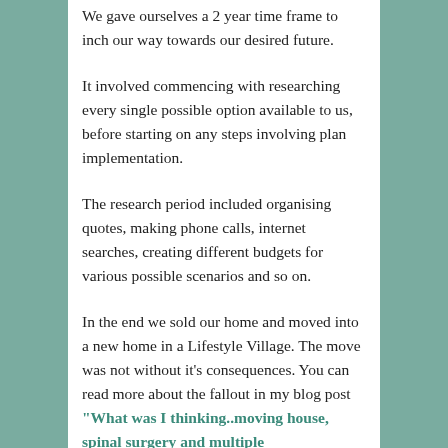We gave ourselves a 2 year time frame to inch our way towards our desired future.
It involved commencing with researching every single possible option available to us, before starting on any steps involving plan implementation.
The research period included organising quotes, making phone calls, internet searches, creating different budgets for various possible scenarios and so on.
In the end we sold our home and moved into a new home in a Lifestyle Village. The move was not without it's consequences. You can read more about the fallout in my blog post “What was I thinking..moving house, spinal surgery and multiple